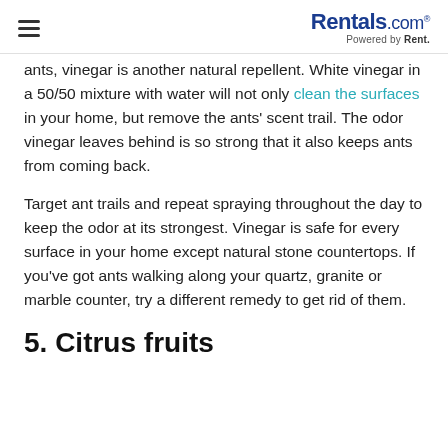Rentals.com Powered by Rent.
ants, vinegar is another natural repellent. White vinegar in a 50/50 mixture with water will not only clean the surfaces in your home, but remove the ants' scent trail. The odor vinegar leaves behind is so strong that it also keeps ants from coming back.
Target ant trails and repeat spraying throughout the day to keep the odor at its strongest. Vinegar is safe for every surface in your home except natural stone countertops. If you've got ants walking along your quartz, granite or marble counter, try a different remedy to get rid of them.
5. Citrus fruits